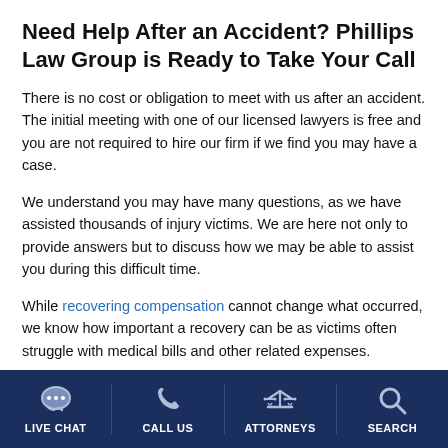Need Help After an Accident? Phillips Law Group is Ready to Take Your Call
There is no cost or obligation to meet with us after an accident. The initial meeting with one of our licensed lawyers is free and you are not required to hire our firm if we find you may have a case.
We understand you may have many questions, as we have assisted thousands of injury victims. We are here not only to provide answers but to discuss how we may be able to assist you during this difficult time.
While recovering compensation cannot change what occurred, we know how important a recovery can be as victims often struggle with medical bills and other related expenses.
LIVE CHAT  CALL US  ATTORNEYS  SEARCH